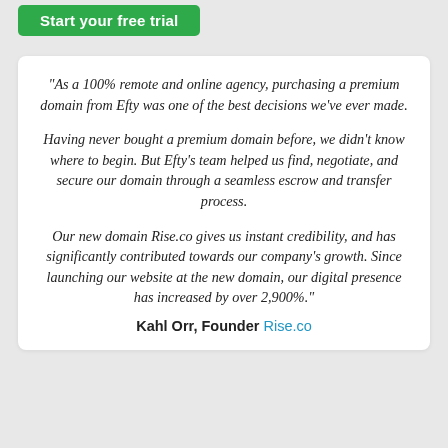[Figure (screenshot): Green 'Start your free trial' button partially visible at the top of the page]
"As a 100% remote and online agency, purchasing a premium domain from Efty was one of the best decisions we've ever made.
Having never bought a premium domain before, we didn't know where to begin. But Efty's team helped us find, negotiate, and secure our domain through a seamless escrow and transfer process.
Our new domain Rise.co gives us instant credibility, and has significantly contributed towards our company's growth. Since launching our website at the new domain, our digital presence has increased by over 2,900%."
Kahl Orr, Founder Rise.co